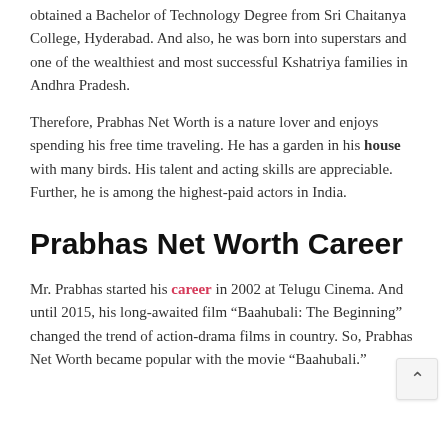obtained a Bachelor of Technology Degree from Sri Chaitanya College, Hyderabad. And also, he was born into superstars and one of the wealthiest and most successful Kshatriya families in Andhra Pradesh.
Therefore, Prabhas Net Worth is a nature lover and enjoys spending his free time traveling. He has a garden in his house with many birds. His talent and acting skills are appreciable. Further, he is among the highest-paid actors in India.
Prabhas Net Worth Career
Mr. Prabhas started his career in 2002 at Telugu Cinema. And until 2015, his long-awaited film “Baahubali: The Beginning” changed the trend of action-drama films in country. So, Prabhas Net Worth became popular with the movie “Baahubali.”